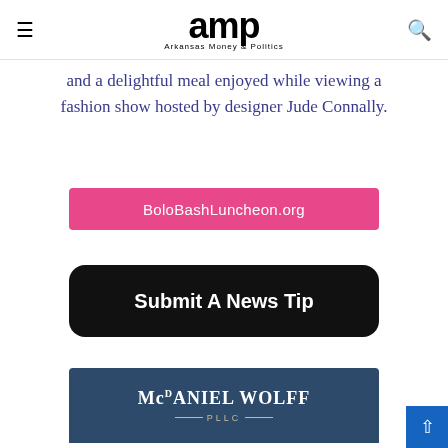amp — Arkansas Money & Politics
and a delightful meal enjoyed while viewing a fashion show hosted by designer Jude Connally.
[Figure (other): Pink button linking to BoloBashLuncheon.org]
[Figure (other): Black rounded button: Submit A News Tip]
[Figure (other): McDaniel Wolff PLLC dark blue banner advertisement]